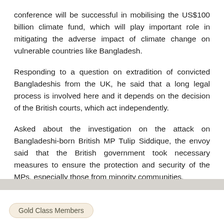conference will be successful in mobilising the US$100 billion climate fund, which will play important role in mitigating the adverse impact of climate change on vulnerable countries like Bangladesh.
Responding to a question on extradition of convicted Bangladeshis from the UK, he said that a long legal process is involved here and it depends on the decision of the British courts, which act independently.
Asked about the investigation on the attack on Bangladeshi-born British MP Tulip Siddique, the envoy said that the British government took necessary measures to ensure the protection and security of the MPs, especially those from minority communities.
Gold Class Members